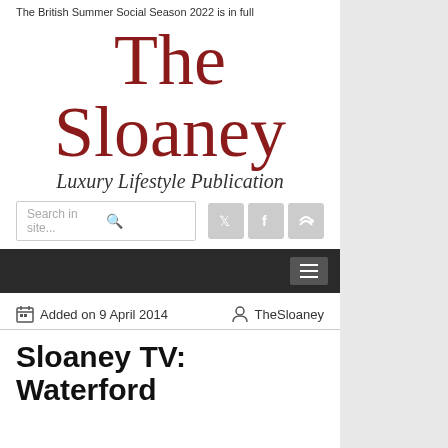The British Summer Social Season 2022 is in full
The Sloaney
Luxury Lifestyle Publication
Search in site...
Added on 9 April 2014   TheSloaney
Sloaney TV: Waterford